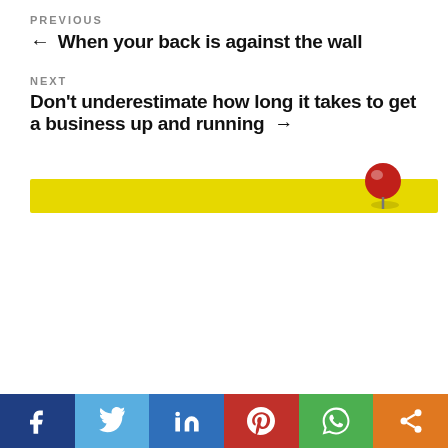PREVIOUS
← When your back is against the wall
NEXT
Don't underestimate how long it takes to get a business up and running →
[Figure (photo): Yellow horizontal banner with a red thumbtack/pin on top of it]
We use cookies on our website to give you the most relevant experience by remembering your preferences and repeat visits. By clicking "Accept All", you consent to the use of ALL the cookies. However, you may visit "Cookie Settings" to provide a controlled consent.
Cookie Settings | Accept All
[Figure (infographic): Social media sharing buttons row: Facebook (dark blue), Twitter (light blue), LinkedIn (blue), Pinterest (red), WhatsApp (green), Share (orange)]